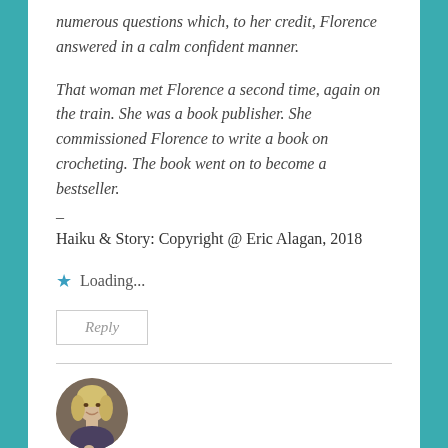numerous questions which, to her credit, Florence answered in a calm confident manner.
That woman met Florence a second time, again on the train. She was a book publisher. She commissioned Florence to write a book on crocheting. The book went on to become a bestseller.
–
Haiku & Story: Copyright @ Eric Alagan, 2018
Loading...
Reply
[Figure (photo): Circular avatar photo of a woman with blonde hair, smiling, dark background.]